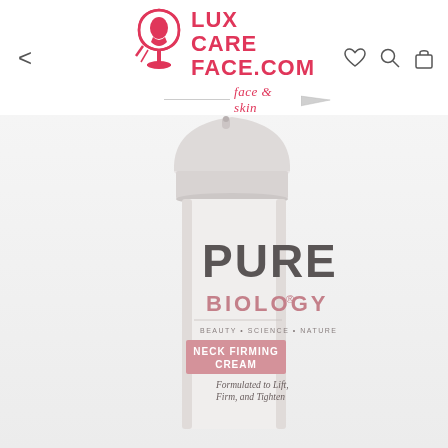[Figure (logo): LuxCareFace.com logo with pink/red face icon and text, subtitle 'face & skin' with decorative arrow]
[Figure (photo): Pure Biology Neck Firming Cream product photo showing white airless pump bottle with gray cap. Label shows 'PURE' in large gray text, 'BIOLOGY®' in pink, 'BEAUTY • SCIENCE • NATURE', and 'NECK FIRMING CREAM' on a pink band. Below: 'Formulated to Lift, Firm, and Tighten']